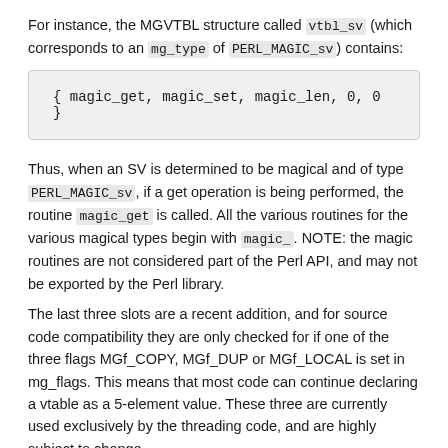For instance, the MGVTBL structure called vtbl_sv (which corresponds to an mg_type of PERL_MAGIC_sv) contains:
{ magic_get, magic_set, magic_len, 0, 0 }
Thus, when an SV is determined to be magical and of type PERL_MAGIC_sv, if a get operation is being performed, the routine magic_get is called. All the various routines for the various magical types begin with magic_. NOTE: the magic routines are not considered part of the Perl API, and may not be exported by the Perl library.
The last three slots are a recent addition, and for source code compatibility they are only checked for if one of the three flags MGf_COPY, MGf_DUP or MGf_LOCAL is set in mg_flags. This means that most code can continue declaring a vtable as a 5-element value. These three are currently used exclusively by the threading code, and are highly subject to change.